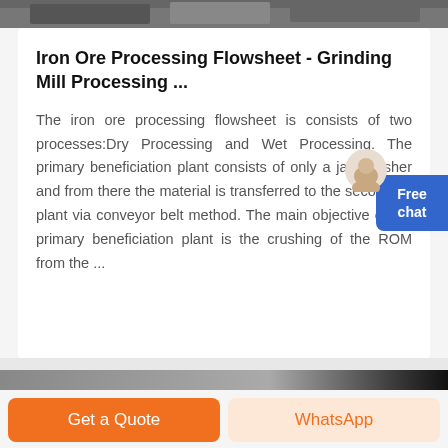[Figure (photo): Top image strip showing industrial processing equipment, partially cropped]
Iron Ore Processing Flowsheet - Grinding Mill Processing ...
The iron ore processing flowsheet is consists of two processes:Dry Processing and Wet Processing. The primary beneficiation plant consists of only a jaw crusher and from there the material is transferred to the secondary plant via conveyor belt method. The main objective of the primary beneficiation plant is the crushing of the ROM from the ...
[Figure (photo): Bottom image strip showing industrial equipment, partially visible]
Get a Quote
WhatsApp